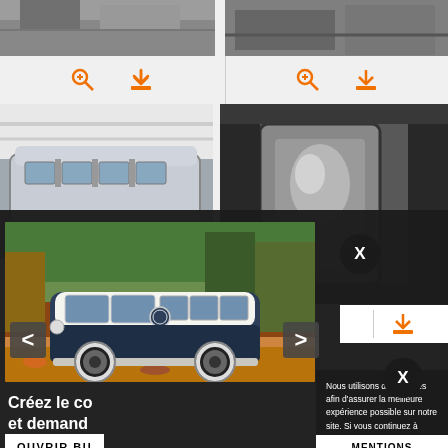[Figure (photo): Top portion of two vehicle photos visible at the top of the page, with orange zoom and download icons below them]
[Figure (photo): VW Type 2 bus body shell in industrial/workshop setting, metal frame visible]
[Figure (photo): Close-up of metal welding/bodywork detail]
[Figure (photo): Classic VW Volkswagen Type 2 (T1) Splitscreen bus, dark blue and white, parked on autumn leaves, with navigation arrows]
X
< >
Créez le co et demand
Nous utilisons des cookies afin d'assurer la meilleure expérience possible sur notre site. Si vous continuez à utiliser ce site, nous supposons que vous êtes ok avec cela.
OUVRIR BU
MENTIONS LÉGALES
X